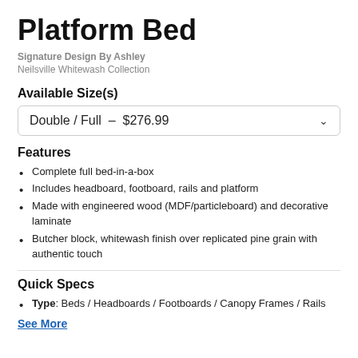Platform Bed
Signature Design By Ashley
Neilsville Whitewash Collection
Available Size(s)
Double / Full  –  $276.99
Features
Complete full bed-in-a-box
Includes headboard, footboard, rails and platform
Made with engineered wood (MDF/particleboard) and decorative laminate
Butcher block, whitewash finish over replicated pine grain with authentic touch
Quick Specs
Type: Beds / Headboards / Footboards / Canopy Frames / Rails
See More